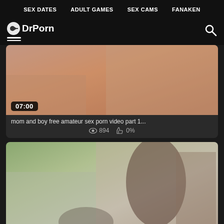SEX DATES  ADULT GAMES  SEX CAMS  FANAKEN
DrPorn
[Figure (screenshot): Video thumbnail showing close-up scene with duration badge 07:00]
mom and boy free amateur sex porn video part 1...
894  0%
[Figure (screenshot): Video thumbnail showing two people in a room with duration badge 34:00]